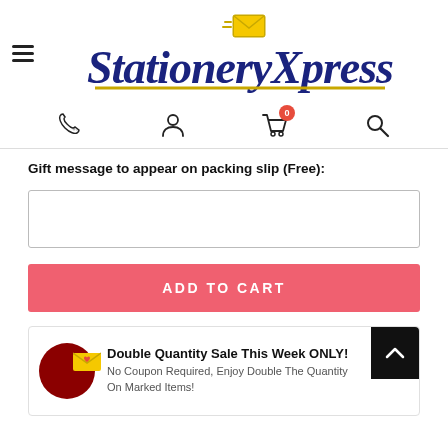[Figure (logo): Stationery Xpress logo with hamburger menu icon on the left, cursive blue text 'StationeryXpress' with gold underline and an envelope icon above the X]
[Figure (infographic): Navigation icons row: phone, person/account, shopping cart with 0 badge, search]
Gift message to appear on packing slip (Free):
[Figure (other): Empty text input box for gift message]
ADD TO CART
[Figure (infographic): Promotional banner: red circle with envelope icon, heading 'Double Quantity Sale This Week ONLY!', subtext 'No Coupon Required, Enjoy Double The Quantity On Marked Items!']
[Figure (other): Back to top button (dark square with upward chevron)]